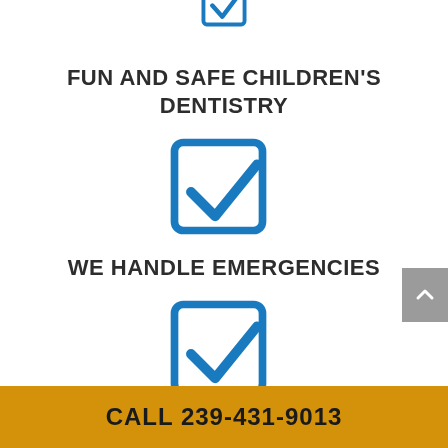[Figure (illustration): Blue checkbox icon (partially cropped at top)]
FUN AND SAFE CHILDREN'S DENTISTRY
[Figure (illustration): Blue checkbox icon with checkmark]
WE HANDLE EMERGENCIES
[Figure (illustration): Blue checkbox icon with checkmark]
CALL 239-431-9013